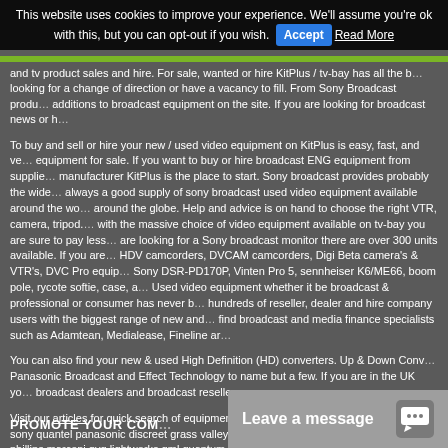This website uses cookies to improve your experience. We'll assume you're ok with this, but you can opt-out if you wish. Accept Read More
and tv product sales and hire. For sale, wanted or hire KitPlus / tv-bay has all the broadcast equipment you are looking for a change of direction or have a vacancy to fill. From Sony Broadcast produ... additions to broadcast equipment on the site. If you are looking for broadcast news or h...
To buy and sell or hire your new / used video equipment on KitPlus is easy, fast, and ve... equipment for sale. If you want to buy or hire broadcast ENG equipment from supplie... manufacturer KitPlus is the place to start. Sony broadcast provides probably the wide... always a good supply of sony broadcast used video equipment available around the wo... around the globe. Help and advice is on hand to choose the right VTR, camera, tripod. with the massive choice of video equipment available on tv-bay you are sure to pay less... are looking for a Sony broadcast monitor there are over 300 units available. If you are... HDV camcorders, DVCAM camcorders, Digi Beta camera's & VTR's, DVC Pro equip... Sony DSR-PD170P, Vinten Pro 5, sennheiser K6/ME66, boom pole, rycote softie, case, a... Used video equipment whether it be broadcast & professional or consumer has never b... hundreds of reseller, dealer and hire company users with the biggest range of new and ... find broadcast and media finance specialists such as Adamtean, Medialease, Fineline ar...
You can also find your new & used High Definition (HD) converters. Up & Down Conv... Panasonic Broadcast and Effect Technology to name but a few. If you are in the UK yo... broadcast dealers and broadcast resellers.
Visit our articles for quick search of equipment reviews and our unique broadcast ind... sony quantel panasonic discreet grass valley avid ikegami tektronix pinnacle m... phillips marconi gvg lightworks gml quantum avs jvc canford cartoni cintel co... ikegami inik jvc manfrotto libec nikon petrol pinnacle philips portabrace vinte... dolby apple arri swit tascam tekniche tektronix thomson aston beyer bts porta... sennheiser doremi shure acer lenovo laptop 360 systems abc accom aja agilent ... wohler marshall swit peli tsl panasonic zandar datavideo pro-bel avitel convex...
PROMOTE YOUR COM...
Leave a message